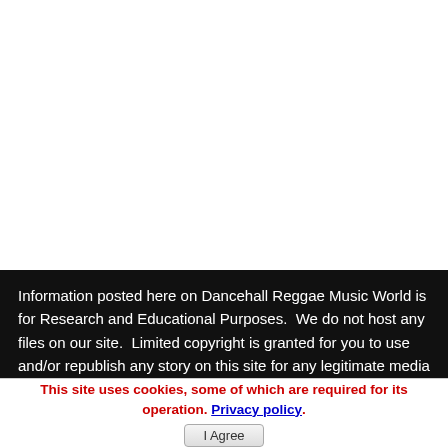Information posted here on Dancehall Reggae Music World is for Research and Educational Purposes.  We do not host any files on our site.  Limited copyright is granted for you to use and/or republish any story on this site for any legitimate media or Educational purpose as long as you reference dancehallreggaeworld.com. Please make sure to read
This site uses cookies, some of which are required for its operation. Privacy policy.